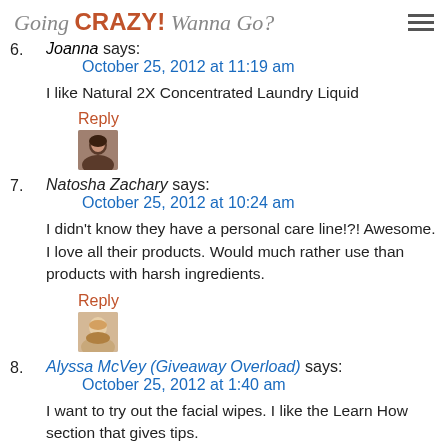Going CRAZY! Wanna Go?
6. Joanna says:
October 25, 2012 at 11:19 am
I like Natural 2X Concentrated Laundry Liquid
7. Natosha Zachary says:
October 25, 2012 at 10:24 am
I didn't know they have a personal care line!?! Awesome. I love all their products. Would much rather use than products with harsh ingredients.
8. Alyssa McVey (Giveaway Overload) says:
October 25, 2012 at 1:40 am
I want to try out the facial wipes. I like the Learn How section that gives tips.
Alyssa McVey (Giveaway Overload) says: